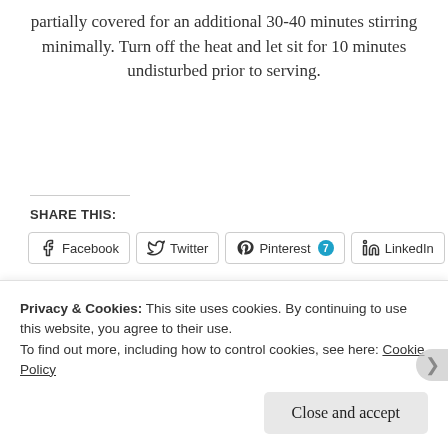partially covered for an additional 30-40 minutes stirring minimally. Turn off the heat and let sit for 10 minutes undisturbed prior to serving.
SHARE THIS:
Facebook | Twitter | Pinterest 7 | LinkedIn
Like | ...
Privacy & Cookies: This site uses cookies. By continuing to use this website, you agree to their use.
To find out more, including how to control cookies, see here: Cookie Policy
Close and accept